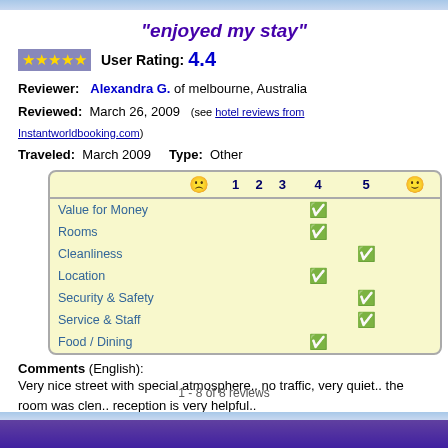"enjoyed my stay"
User Rating: 4.4
Reviewer: Alexandra G. of melbourne, Australia
Reviewed: March 26, 2009 (see hotel reviews from Instantworldbooking.com)
Traveled: March 2009   Type: Other
|  | 1 | 2 | 3 | 4 | 5 |  |
| --- | --- | --- | --- | --- | --- | --- |
| Value for Money |  |  |  | ✔ |  |  |
| Rooms |  |  |  | ✔ |  |  |
| Cleanliness |  |  |  |  | ✔ |  |
| Location |  |  |  | ✔ |  |  |
| Security & Safety |  |  |  |  | ✔ |  |
| Service & Staff |  |  |  |  | ✔ |  |
| Food / Dining |  |  |  | ✔ |  |  |
Comments (English): Very nice street with special atmosphere.. no traffic, very quiet.. the room was clean.. reception is very helpful..
1 - 8 of 8 reviews